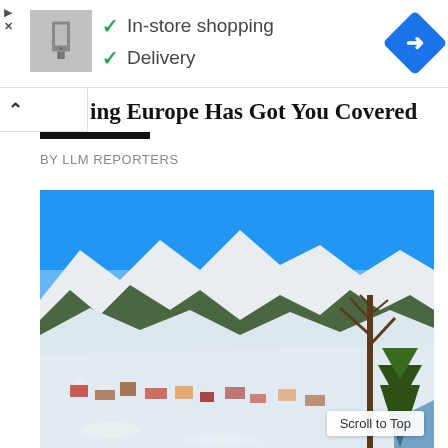[Figure (screenshot): Advertisement bar showing a product thumbnail (grey appliance image), green checkmarks next to 'In-store shopping' and 'Delivery', and a blue Google Maps-style navigation icon on the right]
✓ In-store shopping
✓ Delivery
ing Europe Has Got You Covered
BY LLM REPORTERS
[Figure (photo): Aerial winter landscape photo of a snow-covered Alpine village and mountain slopes under a clear blue sky, with pine trees and a bare deciduous tree in the foreground]
Scroll to Top